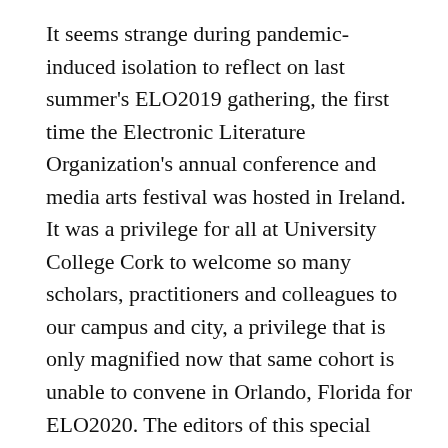It seems strange during pandemic-induced isolation to reflect on last summer's ELO2019 gathering, the first time the Electronic Literature Organization's annual conference and media arts festival was hosted in Ireland. It was a privilege for all at University College Cork to welcome so many scholars, practitioners and colleagues to our campus and city, a privilege that is only magnified now that same cohort is unable to convene in Orlando, Florida for ELO2020. The editors of this special issue would like it dedicated to ELO2020 organisers, whose labour is seen and valued.

This collection of essays from ELO2019 is the largest ever gathering published by the